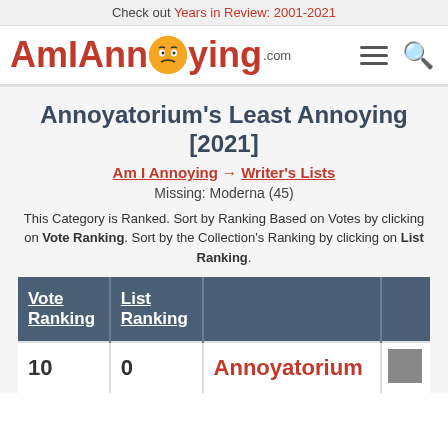Check out Years in Review: 2001-2021
[Figure (logo): AmlAnnoying.com logo with annoyed face emoji, hamburger menu icon, and search icon]
Annoyatorium's Least Annoying [2021]
Am I Annoying → Writer's Lists
Missing: Moderna (45)
This Category is Ranked. Sort by Ranking Based on Votes by clicking on Vote Ranking. Sort by the Collection's Ranking by clicking on List Ranking.
| Vote Ranking | List Ranking |  |  |
| --- | --- | --- | --- |
| 10 | 0 | Annoyatorium |  |